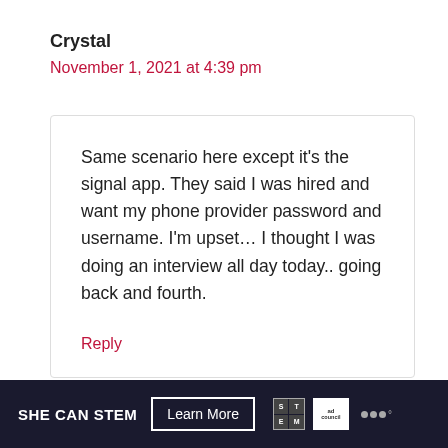Crystal
November 1, 2021 at 4:39 pm
Same scenario here except it’s the signal app. They said I was hired and want my phone provider password and username. I’m upset… I thought I was doing an interview all day today.. going back and fourth.
Reply
SHE CAN STEM Learn More